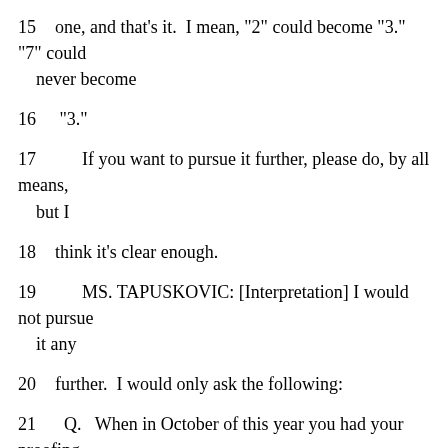15   one, and that's it.  I mean, "2" could become "3."  "7" could never become
16   "3."
17        If you want to pursue it further, please do, by all means, but I
18   think it's clear enough.
19        MS. TAPUSKOVIC: [Interpretation] I would not pursue it any
20   further.  I would only ask the following:
21   Q.   When in October of this year you had your proofing with our